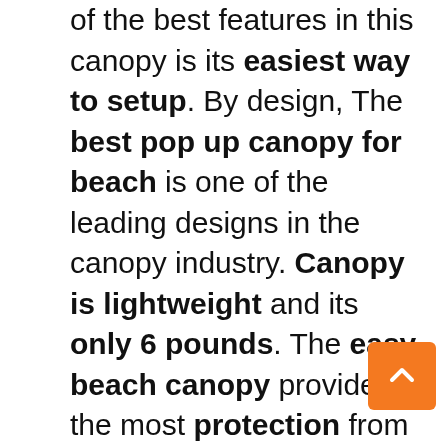of the best features in this canopy is its easiest way to setup. By design, The best pop up canopy for beach is one of the leading designs in the canopy industry. Canopy is lightweight and its only 6 pounds. The easy beach canopy provides the most protection from sun, wind, and rain in all outdoor activities.

Windows provided to make pop up beach canopies better for ventilation of canopy which adds more to the crossing of air. It is made of polyester and water